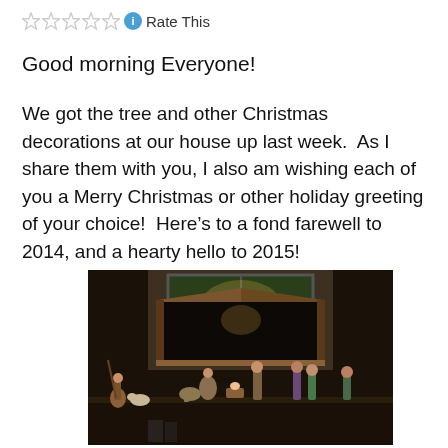☆☆☆☆☆ ℹ Rate This
Good morning Everyone!
We got the tree and other Christmas decorations at our house up last week.  As I share them with you, I also am wishing each of you a Merry Christmas or other holiday greeting of your choice!  Here's to a fond farewell to 2014, and a hearty hello to 2015!
[Figure (photo): A nativity scene with wooden stable and ceramic figurines including Mary, Joseph, baby Jesus, wise men, and a shepherd on a dark wooden shelf with a window in the background.]